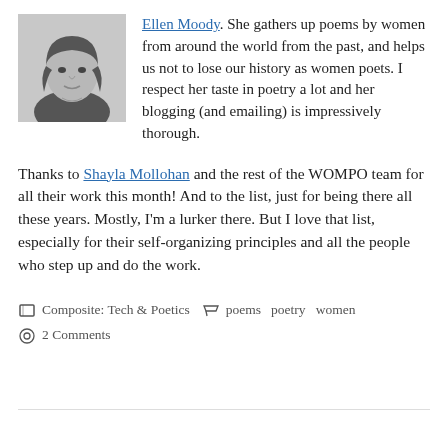[Figure (photo): Black and white photo of a woman with dark curly hair wearing a dark top with a necklace]
Ellen Moody. She gathers up poems by women from around the world from the past, and helps us not to lose our history as women poets. I respect her taste in poetry a lot and her blogging (and emailing) is impressively thorough.
Thanks to Shayla Mollohan and the rest of the WOMPO team for all their work this month! And to the list, just for being there all these years. Mostly, I'm a lurker there. But I love that list, especially for their self-organizing principles and all the people who step up and do the work.
Composite: Tech & Poetics  poems  poetry  women
2 Comments